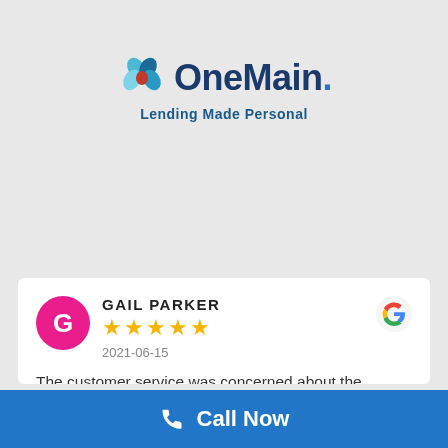[Figure (logo): OneMain Financial logo with flower/petal icon and text 'OneMain. Lending Made Personal']
GAIL PARKER
★★★★★
2021-06-15
The customer service was concerned about the parking area for my vehicle for overnight early bird service. They called me to inform me they were gonna check back wi...
[Figure (logo): Google 'G' logo in top right of review card]
Call Now